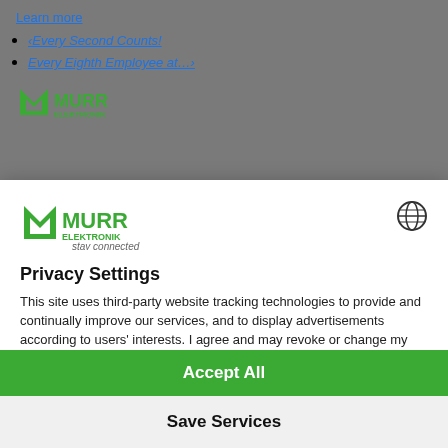Learn more
‹Every Second Counts!
Every Eighth Employee at…›
[Figure (logo): Murr Elektronik logo (green M with mountains) in background]
[Figure (logo): Murr Elektronik logo in modal header with stay connected tagline and globe icon]
Privacy Settings
This site uses third-party website tracking technologies to provide and continually improve our services, and to display advertisements according to users' interests. I agree and may revoke or change my consent at any time with effect for the future.
Privacy Policy   Imprint   more
Accept All
Save Services